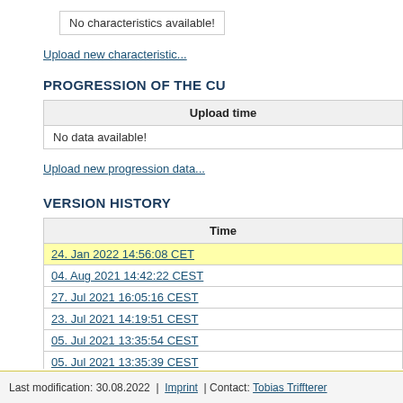No characteristics available!
Upload new characteristic...
PROGRESSION OF THE CU
| Upload time |
| --- |
| No data available! |
Upload new progression data...
VERSION HISTORY
| Time |
| --- |
| 24. Jan 2022 14:56:08 CET |
| 04. Aug 2021 14:42:22 CEST |
| 27. Jul 2021 16:05:16 CEST |
| 23. Jul 2021 14:19:51 CEST |
| 05. Jul 2021 13:35:54 CEST |
| 05. Jul 2021 13:35:39 CEST |
| 26. May 2021 13:27:23 CEST |
Last modification: 30.08.2022  |  Imprint  |  Contact: Tobias Triffterer